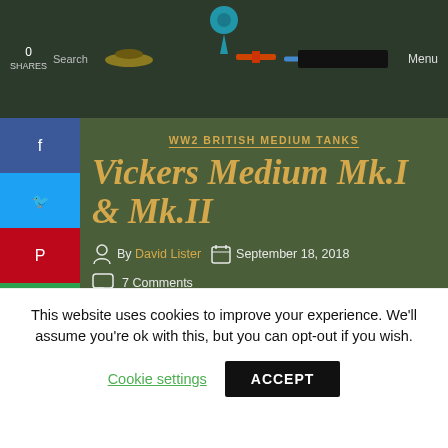0 SHARES | Search | Menu
WW2 BRITISH MEDIUM TANKS
Vickers Medium Mk.I & Mk.II
By David Lister | September 18, 2018 | 7 Comments
[Figure (photo): Partial view of a tan/sand-colored Vickers Medium tank turret against a dark green background]
This website uses cookies to improve your experience. We'll assume you're ok with this, but you can opt-out if you wish. Cookie settings | ACCEPT